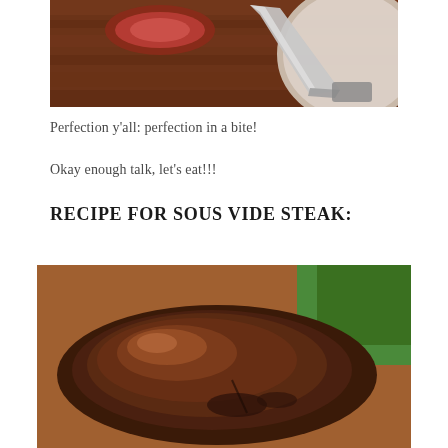[Figure (photo): Close-up photo of sliced steak on a dark wooden cutting board with a knife, showing the pink/red interior of the cooked meat]
Perfection y'all: perfection in a bite!
Okay enough talk, let's eat!!!
RECIPE FOR SOUS VIDE STEAK:
[Figure (photo): Close-up photo of a glazed sous vide steak on a wooden board with green herbs in the background]